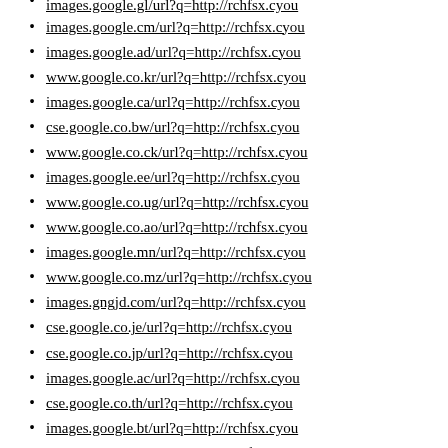images.google.gl/url?q=http://rchfsx.cyou
images.google.cm/url?q=http://rchfsx.cyou
images.google.ad/url?q=http://rchfsx.cyou
www.google.co.kr/url?q=http://rchfsx.cyou
images.google.ca/url?q=http://rchfsx.cyou
cse.google.co.bw/url?q=http://rchfsx.cyou
www.google.co.ck/url?q=http://rchfsx.cyou
images.google.ee/url?q=http://rchfsx.cyou
www.google.co.ug/url?q=http://rchfsx.cyou
www.google.co.ao/url?q=http://rchfsx.cyou
images.google.mn/url?q=http://rchfsx.cyou
www.google.co.mz/url?q=http://rchfsx.cyou
images.gngjd.com/url?q=http://rchfsx.cyou
cse.google.co.je/url?q=http://rchfsx.cyou
cse.google.co.jp/url?q=http://rchfsx.cyou
images.google.ac/url?q=http://rchfsx.cyou
cse.google.co.th/url?q=http://rchfsx.cyou
images.google.bt/url?q=http://rchfsx.cyou